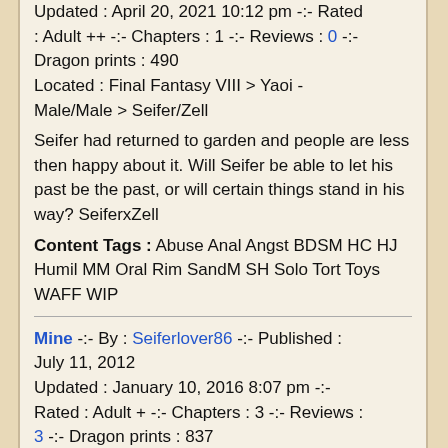Updated : April 20, 2021 10:12 pm -:- Rated : Adult ++ -:- Chapters : 1 -:- Reviews : 0 -:- Dragon prints : 490
Located : Final Fantasy VIII > Yaoi - Male/Male > Seifer/Zell
Seifer had returned to garden and people are less then happy about it. Will Seifer be able to let his past be the past, or will certain things stand in his way? SeiferxZell
Content Tags : Abuse Anal Angst BDSM HC HJ Humil MM Oral Rim SandM SH Solo Tort Toys WAFF WIP
Mine -:- By : Seiferlover86 -:- Published : July 11, 2012
Updated : January 10, 2016 8:07 pm -:- Rated : Adult + -:- Chapters : 3 -:- Reviews : 3 -:- Dragon prints : 837
Located : Final Fantasy VIII > Yaoi - Male/Male > Seifer/Zell
Zell Dincht and Squall Leonhart both have feelings for Seifer Almasy. Unknown to the